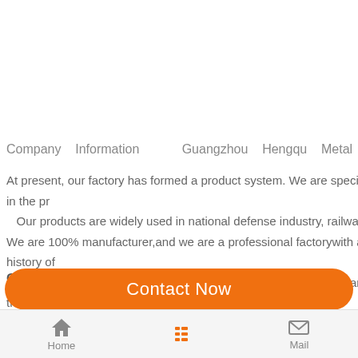Company   Information          Guangzhou   Hengqu   Metal
At present, our factory has formed a product system. We are specialized in the pr
Our products are widely used in national defense industry, railway, coal
We are 100% manufacturer,and we are a professional factorywith a history of
1) We have a professional team to face any challenge and solve any trading proble
Other Products